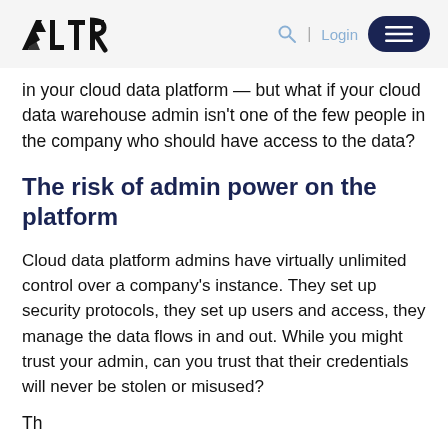ALTR | Login [menu]
in your cloud data platform — but what if your cloud data warehouse admin isn't one of the few people in the company who should have access to the data?
The risk of admin power on the platform
Cloud data platform admins have virtually unlimited control over a company's instance. They set up security protocols, they set up users and access, they manage the data flows in and out. While you might trust your admin, can you trust that their credentials will never be stolen or misused?
The...